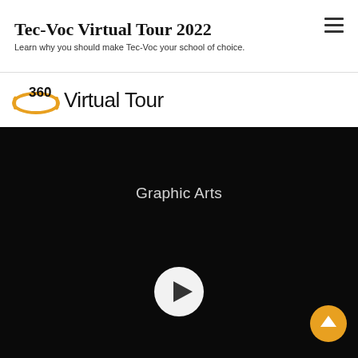Tec-Voc Virtual Tour 2022
Learn why you should make Tec-Voc your school of choice.
360° Virtual Tour
[Figure (screenshot): Dark video thumbnail showing 'Graphic Arts' text with a white play button circle in the center-bottom area, and a gold/orange scroll-to-top arrow button in the bottom right corner]